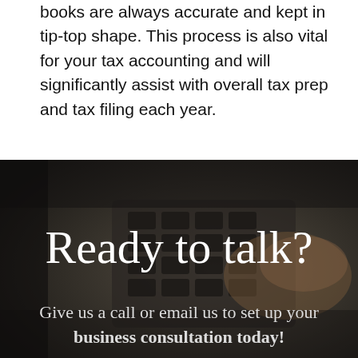books are always accurate and kept in tip-top shape. This process is also vital for your tax accounting and will significantly assist with overall tax prep and tax filing each year.
[Figure (photo): Dark background photo of a person's hand using a calculator/keypad on a desk, with dark moody lighting]
Ready to talk?
Give us a call or email us to set up your business consultation today!